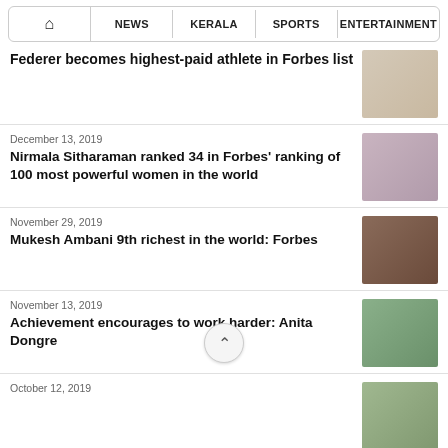HOME | NEWS | KERALA | SPORTS | ENTERTAINMENT
Federer becomes highest-paid athlete in Forbes list
December 13, 2019 — Nirmala Sitharaman ranked 34 in Forbes' ranking of 100 most powerful women in the world
November 29, 2019 — Mukesh Ambani 9th richest in the world: Forbes
November 13, 2019 — Achievement encourages to work harder: Anita Dongre
October 12, 2019